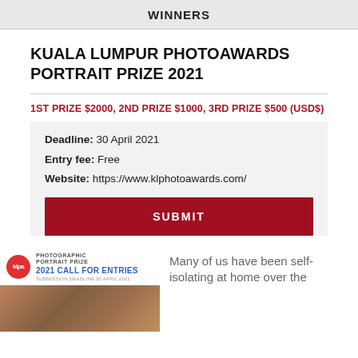WINNERS
KUALA LUMPUR PHOTOAWARDS PORTRAIT PRIZE 2021
1ST PRIZE $2000, 2ND PRIZE $1000, 3RD PRIZE $500 (USD$)
Deadline: 30 April 2021
Entry fee: Free
Website: https://www.klphotoawards.com/
SUBMIT
[Figure (other): KLPA Photographic Portrait Prize 2021 Call for Entries banner with logo and photo]
Many of us have been self-isolating at home over the